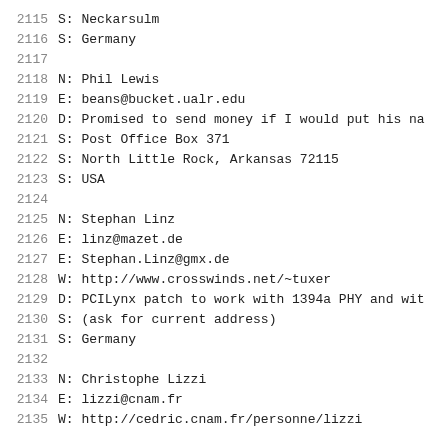2115   S: Neckarsulm
2116   S: Germany
2117
2118   N: Phil Lewis
2119   E: beans@bucket.ualr.edu
2120   D: Promised to send money if I would put his na
2121   S: Post Office Box 371
2122   S: North Little Rock, Arkansas 72115
2123   S: USA
2124
2125   N: Stephan Linz
2126   E: linz@mazet.de
2127   E: Stephan.Linz@gmx.de
2128   W: http://www.crosswinds.net/~tuxer
2129   D: PCILynx patch to work with 1394a PHY and wit
2130   S: (ask for current address)
2131   S: Germany
2132
2133   N: Christophe Lizzi
2134   E: lizzi@cnam.fr
2135   W: http://cedric.cnam.fr/personne/lizzi